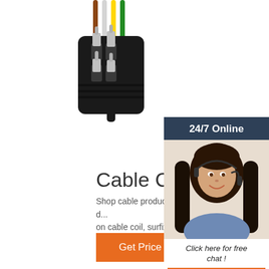[Figure (photo): Close-up photo of a black electrical connector/plug with four metal pins and wires attached at the top, on a white background]
[Figure (photo): Sidebar showing a female customer service agent wearing a headset and smiling, with a dark blue header reading '24/7 Online', a chat prompt 'Click here for free chat!' and an orange QUOTATION button]
Cable Coils & Wire
Shop cable products online with the best d... on cable coil, surfix, flat twin wire, housew... cabtyre and more.
Get Price